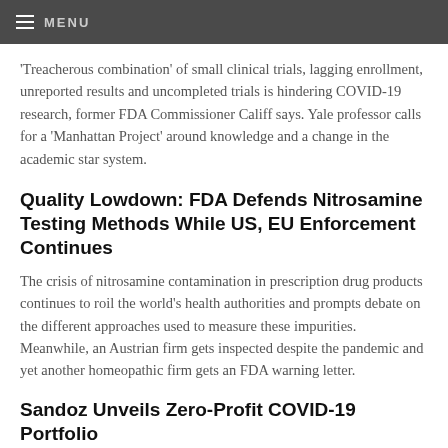MENU
'Treacherous combination' of small clinical trials, lagging enrollment, unreported results and uncompleted trials is hindering COVID-19 research, former FDA Commissioner Califf says. Yale professor calls for a 'Manhattan Project' around knowledge and a change in the academic star system.
Quality Lowdown: FDA Defends Nitrosamine Testing Methods While US, EU Enforcement Continues
The crisis of nitrosamine contamination in prescription drug products continues to roil the world's health authorities and prompts debate on the different approaches used to measure these impurities. Meanwhile, an Austrian firm gets inspected despite the pandemic and yet another homeopathic firm gets an FDA warning letter.
Sandoz Unveils Zero-Profit COVID-19 Portfolio